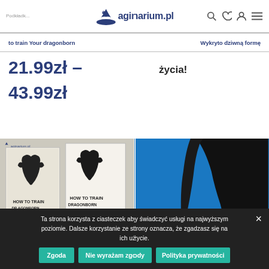Podkładki maginarium.pl Torba z na... | maginarium.pl
to train Your dragonborn
Wykryto dziwną formę życia!
21.99zł – 43.99zł
[Figure (photo): Two book covers showing 'How to Train Dragonborn' on a beige/gray background]
[Figure (photo): Dark silhouette shape against a blue sky background, maginarium.pl logo visible]
We use cookies on our website to give you the most
Ta strona korzysta z ciasteczek aby świadczyć usługi na najwyższym poziomie. Dalsze korzystanie ze strony oznacza, że zgadzasz się na ich użycie.
Zgoda | Nie wyrażam zgody | Polityka prywatności